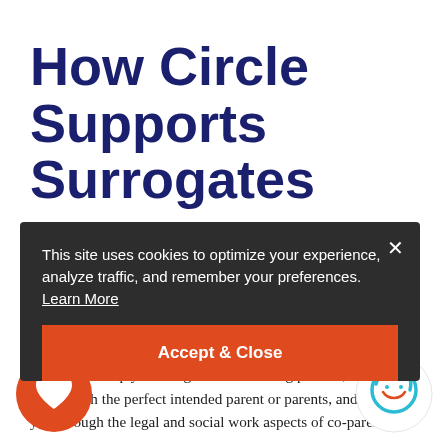How Circle Supports Surrogates
As the world leader in this field, Circle brings 25 years of experience working with surrogates in California. Our team supports you every step of the way—from the day you begin exploring surrogacy to throughout your entire pregnancy to birth. We'll help you navigate the screening process, ensure you match with the perfect intended parent or parents, and guide you through the legal and social work aspects of co-parenting.
This site uses cookies to optimize your experience, analyze traffic, and remember your preferences. Learn More
[Figure (infographic): Cookie consent banner with dark background, close X button, and orange Accept & Close button]
[Figure (logo): Orange circle with white heart icon, bottom left]
[Figure (logo): Circle Surrogacy logo with teal face/swirl icon, bottom right]